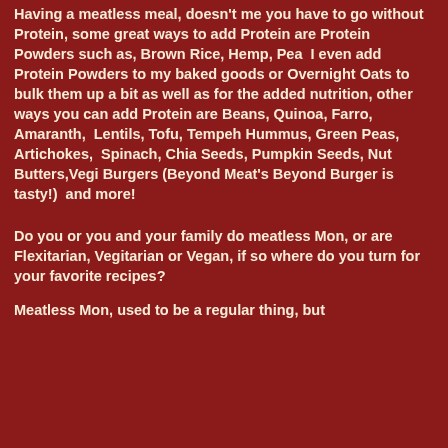Having a meatless meal, doesn't me you have to go without Protein, some great ways to add Protein are Protein Powders such as, Brown Rice, Hemp, Pea  I even add Protein Powders to my baked goods or Overnight Oats to bulk them up a bit as well as for the added nutrition, other ways you can add Protein are Beans, Quinoa, Farro, Amaranth,  Lentils, Tofu, Tempeh Hummus, Green Peas, Artichokes,  Spinach, Chia Seeds, Pumpkin Seeds, Nut Butters,Vegi Burgers (Beyond Meat's Beyond Burger is tasty!)  and more!
Do you or you and your family do meatless Mon, or are Flexitarian, Vegitarian or Vegan, if so where do you turn for your favorite recipes?
Meatless Mon, used to be a regular thing, but